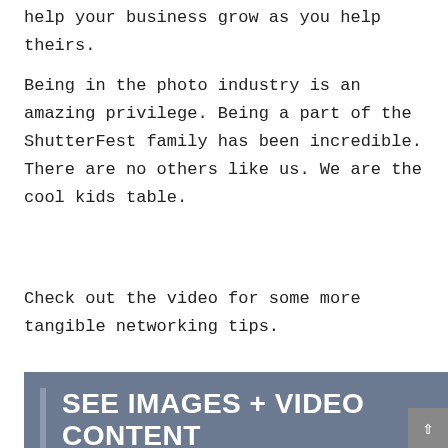help your business grow as you help theirs.
Being in the photo industry is an amazing privilege. Being a part of the ShutterFest family has been incredible. There are no others like us. We are the cool kids table.
Check out the video for some more tangible networking tips.
SEE IMAGES + VIDEO CONTENT
Get access to video content and additional supporting images. Launch the current issue of the magazine by